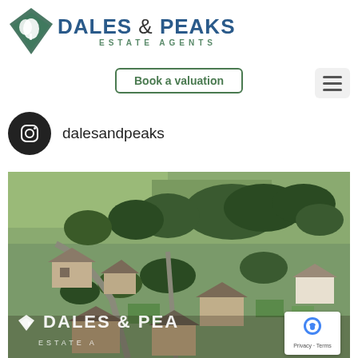[Figure (logo): Dales & Peaks Estate Agents logo with diamond/leaf icon in teal and green colors]
Follow us on Instagra
Book a valuation
[Figure (illustration): Instagram circular icon (camera outline) on black circle background]
dalesandpeaks
[Figure (photo): Aerial photograph of an English village with stone cottages, gardens and trees, with Dales & Peaks Estate Agents watermark logo overlaid at the bottom]
[Figure (other): Google reCAPTCHA badge showing robot icon with Privacy and Terms text]